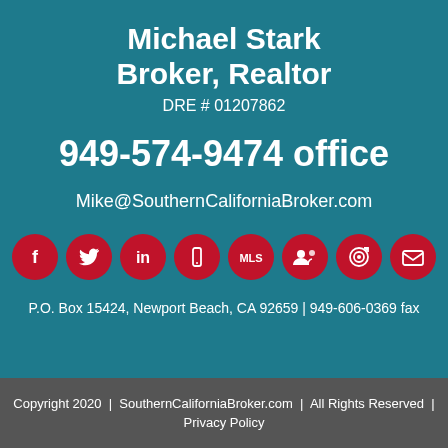Michael Stark
Broker, Realtor
DRE # 01207862
949-574-9474 office
Mike@SouthernCaliforniaBroker.com
[Figure (infographic): Row of 8 red circular social media and contact icons: Facebook, Twitter, LinkedIn, Mobile/Phone, MLS, People/Referral, Target/Marketing, Email]
P.O. Box 15424, Newport Beach, CA 92659 | 949-606-0369 fax
Copyright 2020  |  SouthernCaliforniaBroker.com  |  All Rights Reserved  |  Privacy Policy